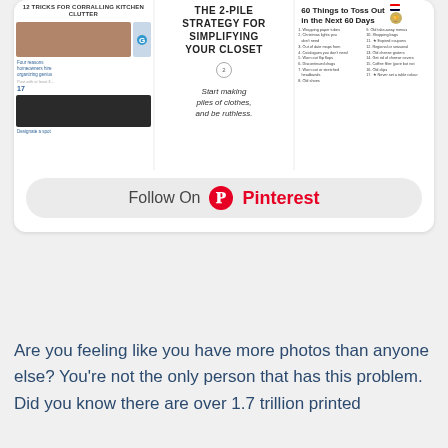[Figure (screenshot): Pinterest board widget showing three pin columns: '12 Tricks for Corralling Kitchen Clutter', 'The 2-Pile Strategy for Simplifying Your Closet', and '60 Things to Toss Out in the Next 60 Days', with a 'Follow On Pinterest' button below]
Are you feeling like you have more photos than anyone else? You're not the only person that has this problem. Did you know there are over 1.7 trillion printed